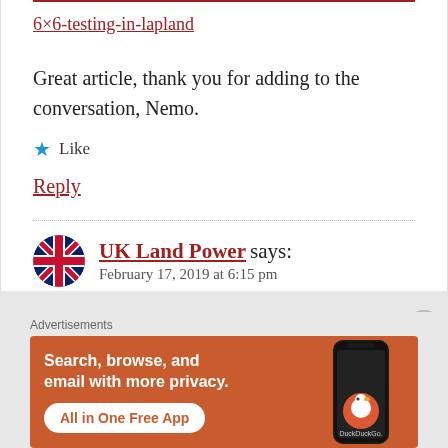6×6-testing-in-lapland
Great article, thank you for adding to the conversation, Nemo.
★ Like
Reply
UK Land Power says:
February 17, 2019 at 6:15 pm
[Figure (infographic): DuckDuckGo advertisement banner: orange background with text 'Search, browse, and email with more privacy. All in One Free App' and a phone image with DuckDuckGo logo]
Advertisements